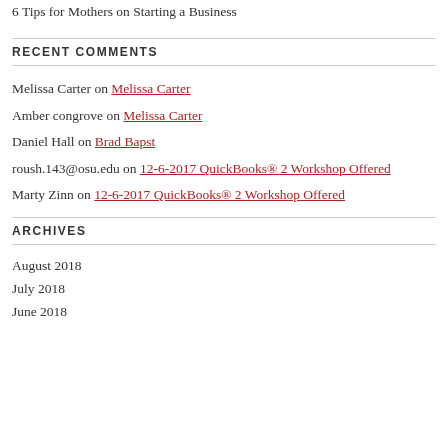6 Tips for Mothers on Starting a Business
RECENT COMMENTS
Melissa Carter on Melissa Carter
Amber congrove on Melissa Carter
Daniel Hall on Brad Bapst
roush.143@osu.edu on 12-6-2017 QuickBooks® 2 Workshop Offered
Marty Zinn on 12-6-2017 QuickBooks® 2 Workshop Offered
ARCHIVES
August 2018
July 2018
June 2018